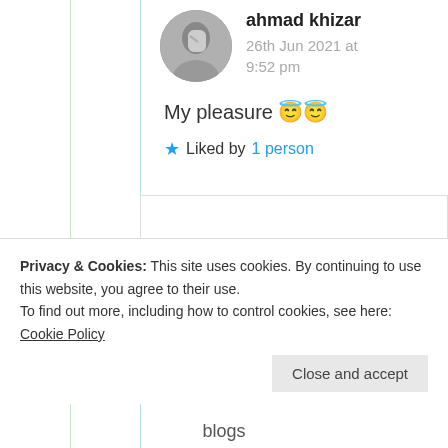ahmad khizar
26th Jun 2021 at 9:52 pm
My pleasure 😇😇
★ Liked by 1 person
ahmad khizar
26th Jun 2021 at
Privacy & Cookies: This site uses cookies. By continuing to use this website, you agree to their use.
To find out more, including how to control cookies, see here: Cookie Policy
Close and accept
blogs